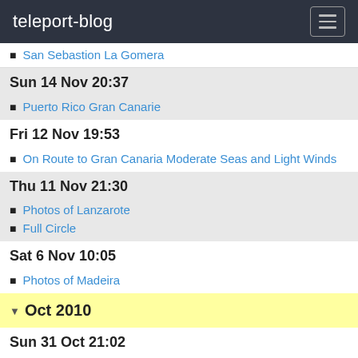teleport-blog
San Sebastion La Gomera
Sun 14 Nov 20:37
Puerto Rico Gran Canarie
Fri 12 Nov 19:53
On Route to Gran Canaria Moderate Seas and Light Winds
Thu 11 Nov 21:30
Photos of Lanzarote
Full Circle
Sat 6 Nov 10:05
Photos of Madeira
Oct 2010
Sun 31 Oct 21:02
Rubicon Marina Playa Blanca Lanzarote
Sat 30 Oct 19:54
On Route To Lanzarote
Fri 29 Oct 19:01